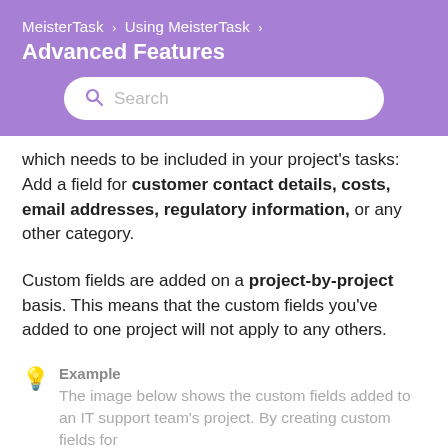MeisterTask › Using MeisterTask › Advanced Features
which needs to be included in your project's tasks: Add a field for customer contact details, costs, email addresses, regulatory information, or any other category.
Custom fields are added on a project-by-project basis. This means that the custom fields you've added to one project will not apply to any others.
💡 Example
The image below shows the custom fields added to an IT support team's project. By creating custom fields for